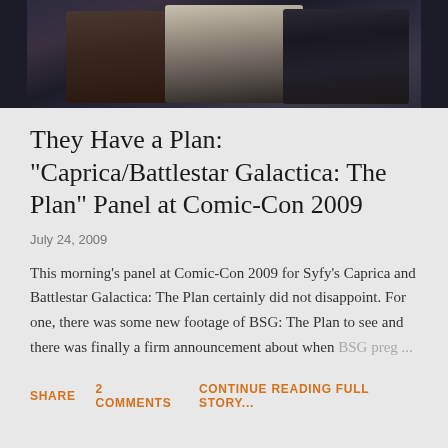[Figure (photo): Cropped photo showing people in formal dark suits at what appears to be a panel or event, dark background]
They Have a Plan: "Caprica/Battlestar Galactica: The Plan" Panel at Comic-Con 2009
July 24, 2009
This morning's panel at Comic-Con 2009 for Syfy's Caprica and Battlestar Galactica: The Plan certainly did not disappoint. For one, there was some new footage of BSG: The Plan to see and there was finally a firm announcement about when BSG preg ...
SHARE   2 COMMENTS   CONTINUE READING FULL STORY...